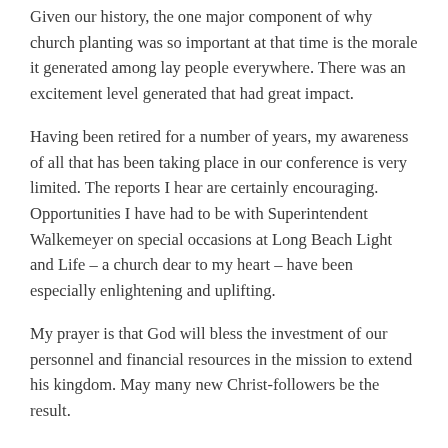Given our history, the one major component of why church planting was so important at that time is the morale it generated among lay people everywhere. There was an excitement level generated that had great impact.
Having been retired for a number of years, my awareness of all that has been taking place in our conference is very limited. The reports I hear are certainly encouraging. Opportunities I have had to be with Superintendent Walkemeyer on special occasions at Long Beach Light and Life – a church dear to my heart – have been especially enlightening and uplifting.
My prayer is that God will bless the investment of our personnel and financial resources in the mission to extend his kingdom. May many new Christ-followers be the result.